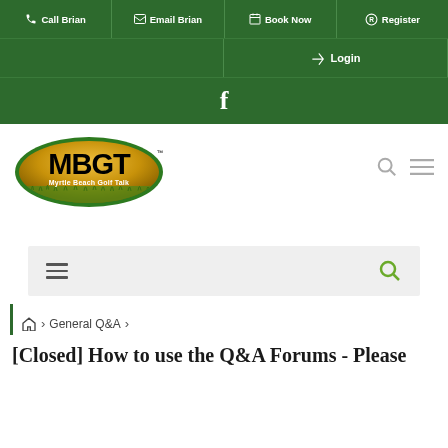Call Brian | Email Brian | Book Now | Register
Login
f (Facebook)
[Figure (logo): MBGT Myrtle Beach Golf Talk oval logo with gold background and black text]
[Closed] How to use the Q&A Forums - Please